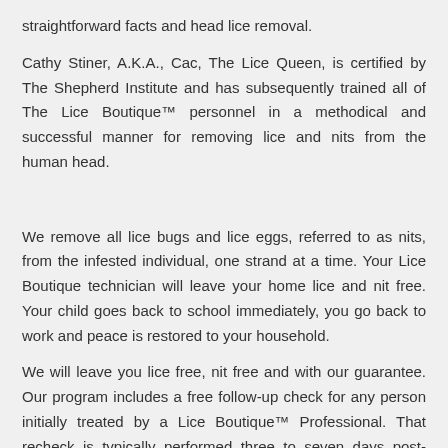straightforward facts and head lice removal.
Cathy Stiner, A.K.A., Cac, The Lice Queen, is certified by The Shepherd Institute and has subsequently trained all of The Lice Boutique™ personnel in a methodical and successful manner for removing lice and nits from the human head.
We remove all lice bugs and lice eggs, referred to as nits, from the infested individual, one strand at a time. Your Lice Boutique technician will leave your home lice and nit free. Your child goes back to school immediately, you go back to work and peace is restored to your household.
We will leave you lice free, nit free and with our guarantee. Our program includes a free follow-up check for any person initially treated by a Lice Boutique™ Professional. That recheck is typically performed three to seven days post-treatment, depending on what is found at treatment. It